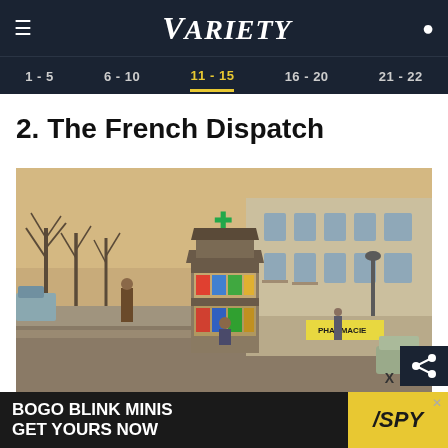VARIETY
1 - 5  6 - 10  11 - 15  16 - 20  21 - 22
2. The French Dispatch
[Figure (photo): Film still from The French Dispatch showing a French street scene with a news kiosk in the foreground, a pharmacy (PHARMACIE) in the background, and leafless trees lining the road.]
BOGO BLINK MINIS GET YOURS NOW  /SPY